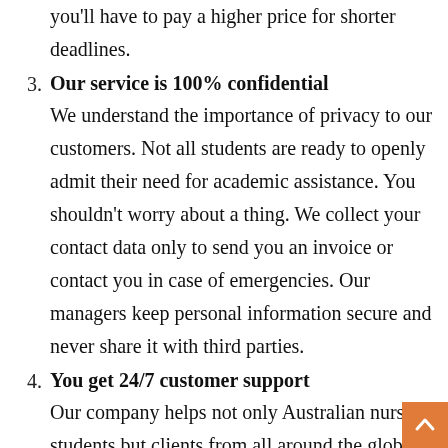you'll have to pay a higher price for shorter deadlines.
Our service is 100% confidential
We understand the importance of privacy to our customers. Not all students are ready to openly admit their need for academic assistance. You shouldn't worry about a thing. We collect your contact data only to send you an invoice or contact you in case of emergencies. Our managers keep personal information secure and never share it with third parties.
You get 24/7 customer support
Our company helps not only Australian nursing students but clients from all around the globe. We want them to always feel our support. That's why our customer support managers are available day and night. They can answer your questions about